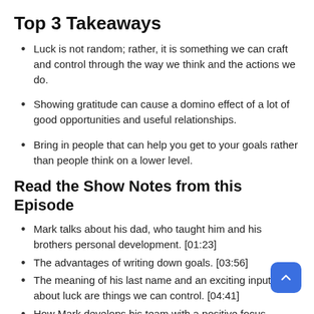Top 3 Takeaways
Luck is not random; rather, it is something we can craft and control through the way we think and the actions we do.
Showing gratitude can cause a domino effect of a lot of good opportunities and useful relationships.
Bring in people that can help you get to your goals rather than people think on a lower level.
Read the Show Notes from this Episode
Mark talks about his dad, who taught him and his brothers personal development. [01:23]
The advantages of writing down goals. [03:56]
The meaning of his last name and an exciting input about luck are things we can control. [04:41]
How Mark develops his team with a positive focus. [05:53]
Why hiring is critical and how to sift out applicants. [06:51]
Mark shares his thoughts about the importance of